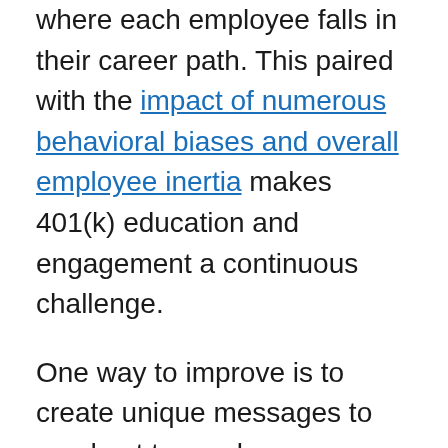where each employee falls in their career path. This paired with the impact of numerous behavioral biases and overall employee inertia makes 401(k) education and engagement a continuous challenge.
One way to improve is to create unique messages to send out to employees belonging to different age demographics. For example you might send younger employees topics around debt reduction or smart contribution rates, while employees later in their career might need messages about will preparation and estate planning or fixed-income products to focus on in their portfolio as they near retirement age.